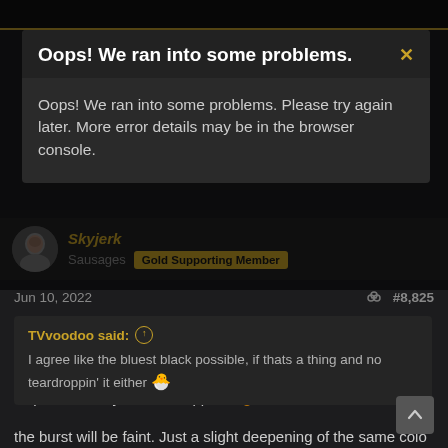Oops! We ran into some problems.
Oops! We ran into some problems. Please try again later. More error details may be in the browser console.
Skyjerk
Sausages  Gold Supporting Member
Jun 10, 2022   #8,825
TVvoodoo said: ↑
I agree like the bluest black possible, if thats a thing and no teardroppin' it either 🐣
Nope. Definitely no teardroppin it 🙂
the burst will be faint. Just a slight deepening of the same color (blue, not black) color right near the edge, but completely transparent and not very wide ie: it wont come in far from the edge